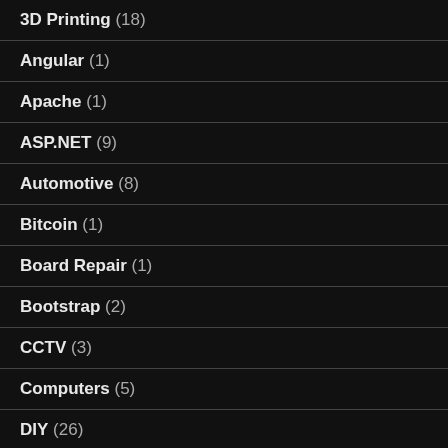3D Printing (18)
Angular (1)
Apache (1)
ASP.NET (9)
Automotive (8)
Bitcoin (1)
Board Repair (1)
Bootstrap (2)
CCTV (3)
Computers (5)
DIY (26)
Entity Framework (1)